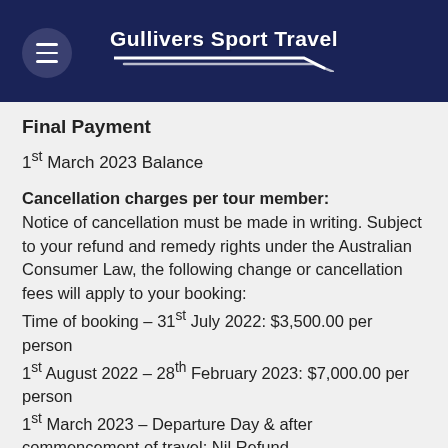Gullivers Sport Travel
Final Payment
1st March 2023 Balance
Cancellation charges per tour member: Notice of cancellation must be made in writing. Subject to your refund and remedy rights under the Australian Consumer Law, the following change or cancellation fees will apply to your booking: Time of booking – 31st July 2022: $3,500.00 per person 1st August 2022 – 28th February 2023: $7,000.00 per person 1st March 2023 – Departure Day & after commencement of travel: Nil Refund.
Please note there may be specialised inclusions in your